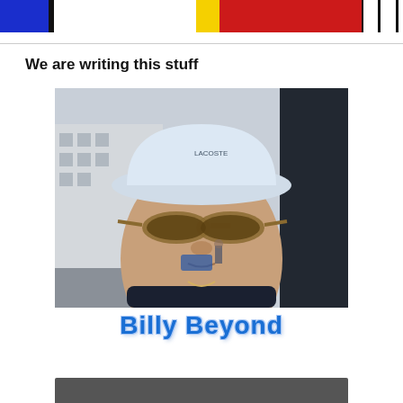Mondrian-style colored header bar
We are writing this stuff
[Figure (photo): Person wearing a white bucket hat and aviator sunglasses, photographed outdoors with buildings in background]
Billy Beyond